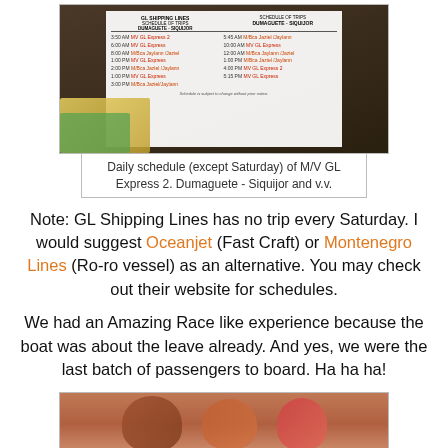[Figure (photo): Photo of a GL Shipping Lines schedule board showing trips between Dumaguete and Siquijor with various vessel names and departure times]
Daily schedule (except Saturday) of M/V GL Express 2. Dumaguete - Siquijor and v.v.
Note: GL Shipping Lines has no trip every Saturday. I would suggest Oceanjet (Fast Craft) or Montenegro Lines (Ro-ro vessel) as an alternative. You may check out their website for schedules.
We had an Amazing Race like experience because the boat was about the leave already. And yes, we were the last batch of passengers to board. Ha ha ha!
[Figure (photo): Photo of passengers on a boat, partially visible at bottom of page]